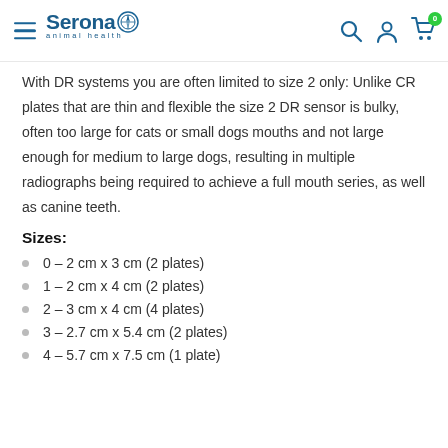Serona animal health
With DR systems you are often limited to size 2 only: Unlike CR plates that are thin and flexible the size 2 DR sensor is bulky, often too large for cats or small dogs mouths and not large enough for medium to large dogs, resulting in multiple radiographs being required to achieve a full mouth series, as well as canine teeth.
Sizes:
0 – 2 cm x 3 cm (2 plates)
1 – 2 cm x 4 cm (2 plates)
2 – 3 cm x 4 cm (4 plates)
3 – 2.7 cm x 5.4 cm (2 plates)
4 – 5.7 cm x 7.5 cm (1 plate)